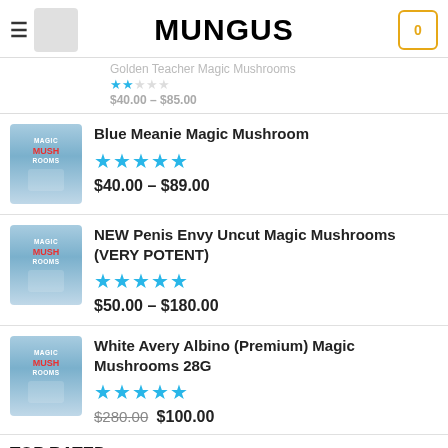MUNGUS
Golden Teacher Magic Mushrooms
★★ $40.00 – $85.00
Blue Meanie Magic Mushroom
★★★★★ $40.00 – $89.00
NEW Penis Envy Uncut Magic Mushrooms (VERY POTENT)
★★★★★ $50.00 – $180.00
White Avery Albino (Premium) Magic Mushrooms 28G
★★★★★ $280.00 $100.00
TOP RATED